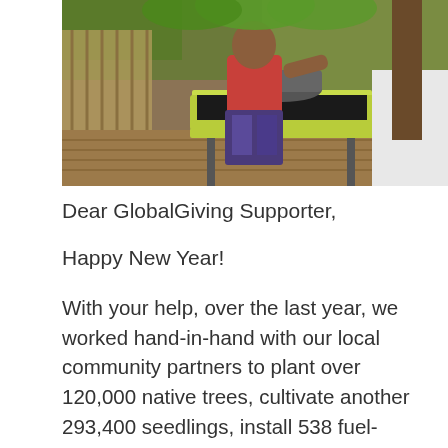[Figure (photo): A person in a red shirt and floral shorts cooking on a green portable stove outdoors on a wooden porch, surrounded by tropical vegetation and bamboo fencing.]
Dear GlobalGiving Supporter,
Happy New Year!
With your help, over the last year, we worked hand-in-hand with our local community partners to plant over 120,000 native trees, cultivate another 293,400 seedlings, install 538 fuel-efficient stoves, and distribute 11...